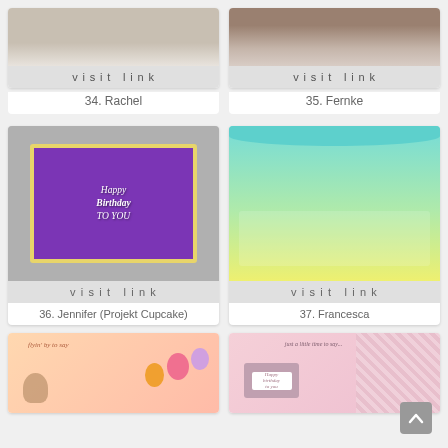[Figure (photo): Partial card image for entry 34 Rachel]
visit link
34. Rachel
[Figure (photo): Partial card image for entry 35 Fernke]
visit link
35. Fernke
[Figure (photo): Happy Birthday To You card with purple background and golden foliage frame]
visit link
36. Jennifer (Projekt Cupcake)
[Figure (photo): Colorful birthday card with carnival/circus scene and animals with balloons]
visit link
37. Francesca
[Figure (photo): Partial birthday card with bear and balloons on peach/coral background]
[Figure (photo): Partial birthday card with typewriter on pink striped background]